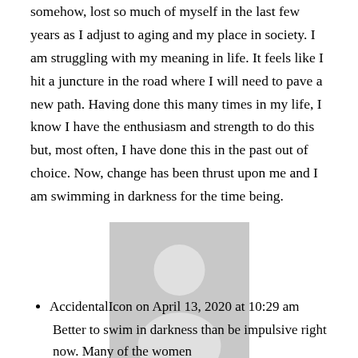somehow, lost so much of myself in the last few years as I adjust to aging and my place in society. I am struggling with my meaning in life. It feels like I hit a juncture in the road where I will need to pave a new path. Having done this many times in my life, I know I have the enthusiasm and strength to do this but, most often, I have done this in the past out of choice. Now, change has been thrust upon me and I am swimming in darkness for the time being.
[Figure (illustration): Generic grey user avatar silhouette on light grey background]
AccidentalIcon on April 13, 2020 at 10:29 am
Better to swim in darkness than be impulsive right now. Many of the women